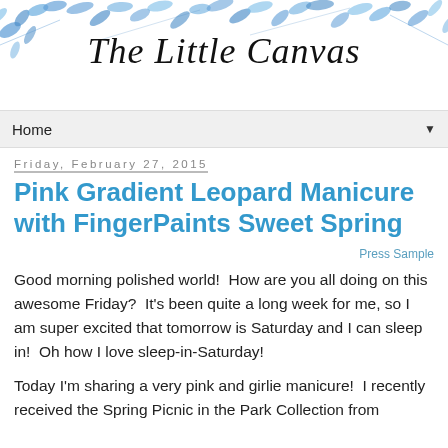[Figure (illustration): Blue watercolor floral/leaf border decorating the top of the blog header with script text 'The Little Canvas' below]
The Little Canvas
Home ▼
Friday, February 27, 2015
Pink Gradient Leopard Manicure with FingerPaints Sweet Spring
Press Sample
Good morning polished world!  How are you all doing on this awesome Friday?  It's been quite a long week for me, so I am super excited that tomorrow is Saturday and I can sleep in!  Oh how I love sleep-in-Saturday!
Today I'm sharing a very pink and girlie manicure!  I recently received the Spring Picnic in the Park Collection from